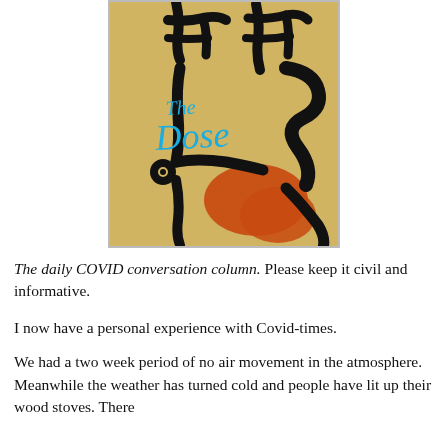[Figure (illustration): Artwork image labeled 'The Dose' — abstract black brushstroke figures on a tan/beige background with an orange shape, and the words 'The Dose' written in cyan/turquoise handwritten text]
The daily COVID conversation column. Please keep it civil and informative.
I now have a personal experience with Covid-times.
We had a two week period of no air movement in the atmosphere. Meanwhile the weather has turned cold and people have lit up their wood stoves. There